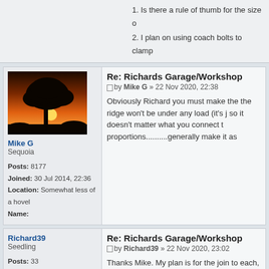1. Is there a rule of thumb for the size o
2. I plan on using coach bolts to clamp
Re: Richards Garage/Workshop
by Mike G » 22 Nov 2020, 22:38
[Figure (photo): Silhouette of a tree against an orange sunset sky]
Mike G
Sequoia
Posts: 8177
Joined: 30 Jul 2014, 22:36
Location: Somewhat less of a hovel
Name:
Obviously Richard you must make the the ridge won't be under any load (it's j so it doesn't matter what you connect t proportions..........generally make it as
Re: Richards Garage/Workshop
by Richard39 » 22 Nov 2020, 23:02
Richard39
Seedling
Posts: 33
Joined: 01 Jun 2016, 21:42
Name:
Thanks Mike. My plan is for the join to each, so its easy enough to achieve.
I think I get what you are saying regard until the rafters are in place it will be go